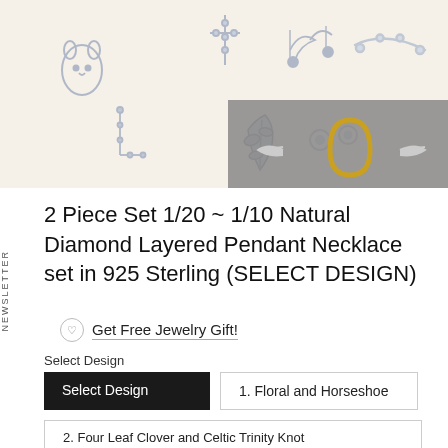[Figure (photo): Banner image of various diamond jewelry pieces on a cream/beige background including cat pendant, leaf design, musical notes, cross, and other shapes. A gray overlay box with a horseshoe icon is in the top-right corner.]
2 Piece Set 1/20 ~ 1/10 Natural Diamond Layered Pendant Necklace set in 925 Sterling (SELECT DESIGN)
Get Free Jewelry Gift!
Select Design
Select Design
1. Floral and Horseshoe
2. Four Leaf Clover and Celtic Trinity Knot
3. Musical Treble Clef and Eighth Note
4. Heart and Flower
5. Bee and Flower